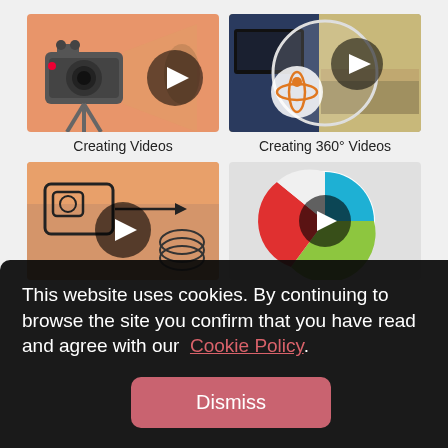[Figure (screenshot): Thumbnail for 'Creating Videos' showing a video camera icon on orange background with play button]
Creating Videos
[Figure (screenshot): Thumbnail for 'Creating 360° Videos' showing a room interior in circular frame with 360 orbit icon and play button]
Creating 360° Videos
[Figure (screenshot): Thumbnail for a video about recording/export showing a camera diagram with arrow and coil on orange background with play button]
[Figure (screenshot): Thumbnail showing a pie-chart style colorful icon with play button]
This website uses cookies. By continuing to browse the site you confirm that you have read and agree with our  Cookie Policy.
Dismiss